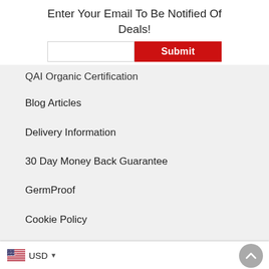Enter Your Email To Be Notified Of Deals!
QAI Organic Certification
Blog Articles
Delivery Information
30 Day Money Back Guarantee
GermProof
Cookie Policy
Privacy Policy
USD